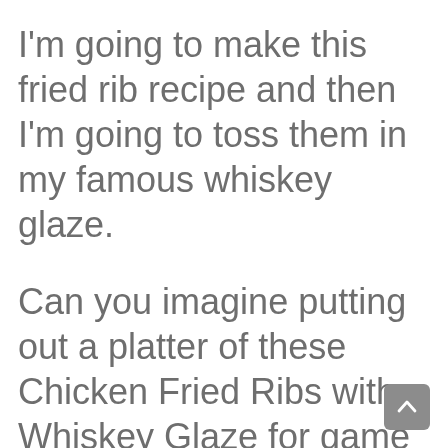I'm going to make this fried rib recipe and then I'm going to toss them in my famous whiskey glaze.
Can you imagine putting out a platter of these Chicken Fried Ribs with Whiskey Glaze for game day, or any party? You'll be the house that everyone always wants